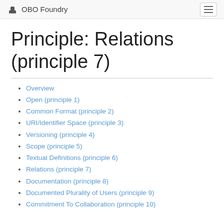OBO Foundry
Principle: Relations (principle 7)
Overview
Open (principle 1)
Common Format (principle 2)
URI/Identifier Space (principle 3)
Versioning (principle 4)
Scope (principle 5)
Textual Definitions (principle 6)
Relations (principle 7)
Documentation (principle 8)
Documented Plurality of Users (principle 9)
Commitment To Collaboration (principle 10)